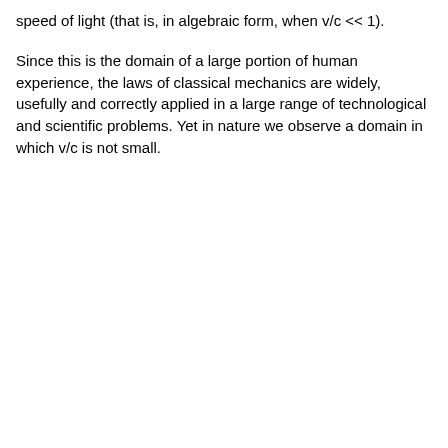speed of light (that is, in algebraic form, when v/c << 1).
Since this is the domain of a large portion of human experience, the laws of classical mechanics are widely, usefully and correctly applied in a large range of technological and scientific problems. Yet in nature we observe a domain in which v/c is not small.